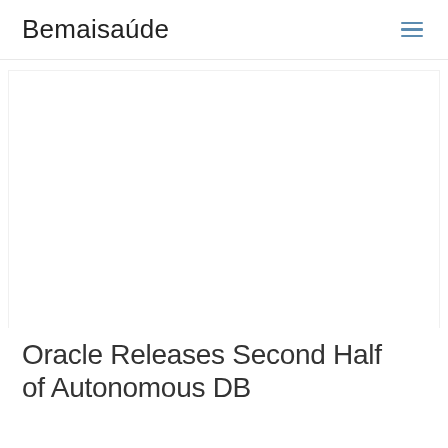Bemaisaúde
[Figure (other): Advertisement/blank white block area in the main content region]
Oracle Releases Second Half of Autonomous DB